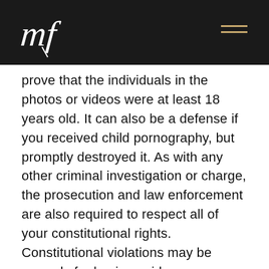[Figure (logo): Stylized 'mf' script logo in white on dark background, top left header]
prove that the individuals in the photos or videos were at least 18 years old. It can also be a defense if you received child pornography, but promptly destroyed it. As with any other criminal investigation or charge, the prosecution and law enforcement are also required to respect all of your constitutional rights. Constitutional violations may be grounds for having evidence dismissed or even the charges against you reduced or dropped.